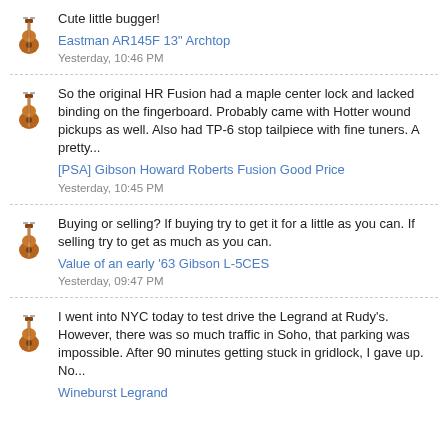Cute little bugger!
Eastman AR145F 13" Archtop
Yesterday, 10:46 PM
So the original HR Fusion had a maple center lock and lacked binding on the fingerboard. Probably came with Hotter wound pickups as well. Also had TP-6 stop tailpiece with fine tuners. A pretty...
[PSA] Gibson Howard Roberts Fusion Good Price
Yesterday, 10:45 PM
Buying or selling? If buying try to get it for a little as you can. If selling try to get as much as you can.
Value of an early '63 Gibson L-5CES
Yesterday, 09:47 PM
I went into NYC today to test drive the Legrand at Rudy's. However, there was so much traffic in Soho, that parking was impossible. After 90 minutes getting stuck in gridlock, I gave up. No...
Wineburst Legrand